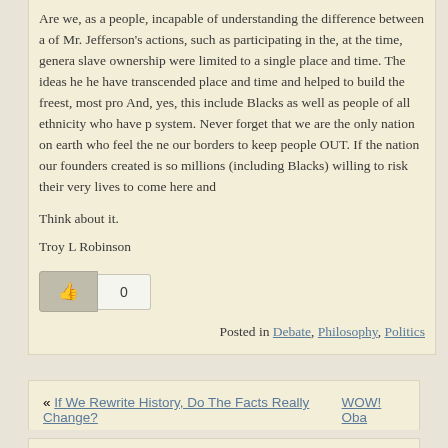Are we, as a people, incapable of understanding the difference between a of Mr. Jefferson's actions, such as participating in the, at the time, genera slave ownership were limited to a single place and time. The ideas he he have transcended place and time and helped to build the freest, most pro And, yes, this include Blacks as well as people of all ethnicity who have p system. Never forget that we are the only nation on earth who feel the ne our borders to keep people OUT. If the nation our founders created is so millions (including Blacks) willing to risk their very lives to come here and
Think about it.
Troy L Robinson
Posted in Debate, Philosophy, Politics
« If We Rewrite History, Do The Facts Really Change?   WOW! Oba...
6 Responses to “Removing The Last Vestig...